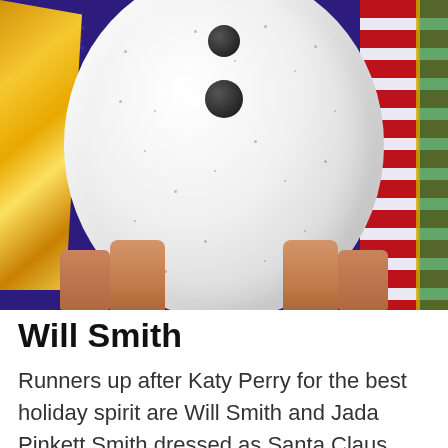[Figure (photo): A person in a large round snowman costume (white spherical body with black button eyes and glitter dots) being held up or worn, with a gold sequin outfit visible on the left and a red, green, and white Christmas-themed outfit/scarf on the right. Background is dark purple/blue with snowflake decorations.]
Will Smith
Runners up after Katy Perry for the best holiday spirit are Will Smith and Jada Pinkett Smith dressed as Santa Claus and his helper Rudolph the Reindeer. This was